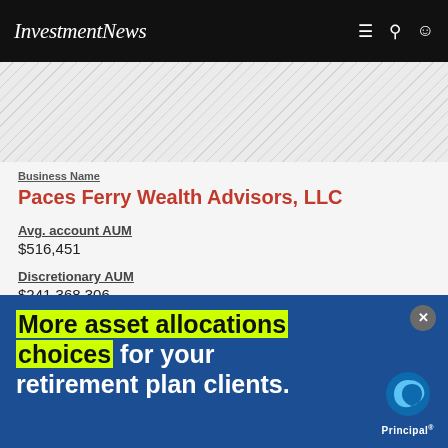InvestmentNews
Business Name
Paces Ferry Wealth Advisors, LLC
Avg. account AUM
$516,451
Discretionary AUM
$241,368,306
Non-discretionary AUM
$41,130,361
Total AUM
$282,498,667
[Figure (other): Advertisement banner for Principal: 'More asset allocations choices for your retirement plan clients.' with Principal logo]